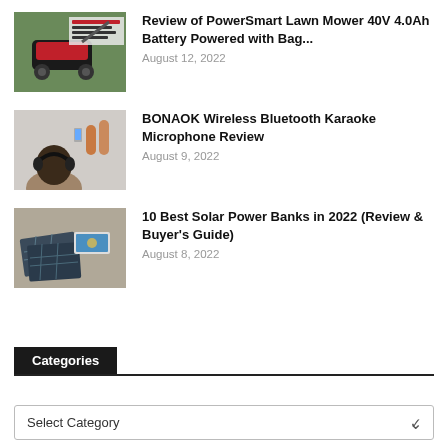[Figure (photo): Red and black lawn mower on grass with product branding visible]
Review of PowerSmart Lawn Mower 40V 4.0Ah Battery Powered with Bag...
August 12, 2022
[Figure (photo): Child with headphones facing a wall with microphones and a phone visible]
BONAOK Wireless Bluetooth Karaoke Microphone Review
August 9, 2022
[Figure (photo): Solar panels and a phone on a concrete surface]
10 Best Solar Power Banks in 2022 (Review & Buyer's Guide)
August 8, 2022
Categories
Select Category